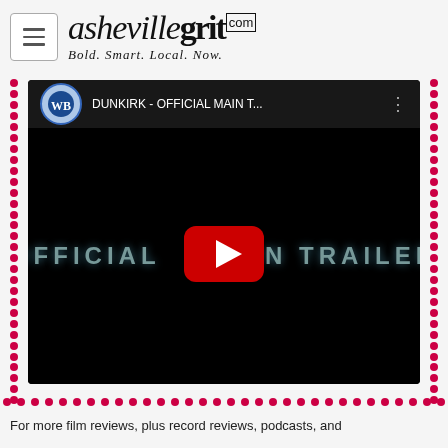ashevillegrit.com — Bold. Smart. Local. Now.
[Figure (screenshot): Embedded YouTube video thumbnail for DUNKIRK - OFFICIAL MAIN TRAILER with Warner Bros logo, play button overlay, and text OFFICIAL TRAILER on black background. Surrounded by a dotted crimson border on both sides.]
For more film reviews, plus record reviews, podcasts, and